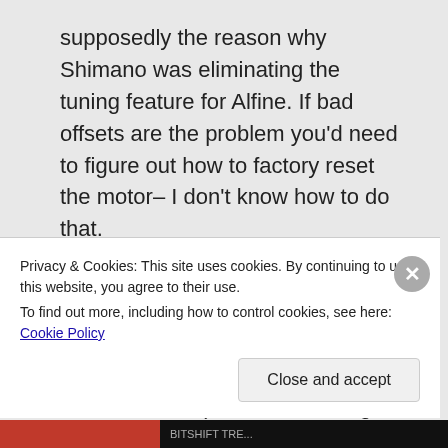supposedly the reason why Shimano was eliminating the tuning feature for Alfine. If bad offsets are the problem you'd need to figure out how to factory reset the motor– I don't know how to do that.
I would take a look at how the motor is mounted to the hub. Make sure the dots on the hub are aligned properly (per the Shimano documentation) before installing the
Privacy & Cookies: This site uses cookies. By continuing to use this website, you agree to their use.
To find out more, including how to control cookies, see here: Cookie Policy